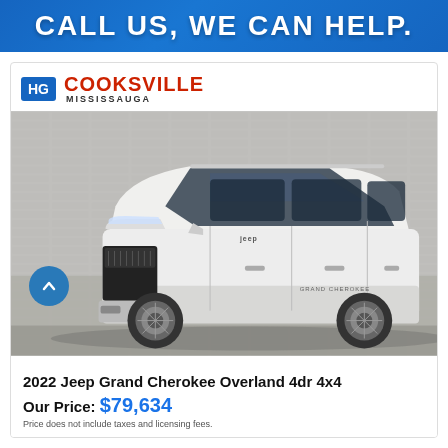CALL US, WE CAN HELP.
[Figure (logo): HG Cooksville Mississauga dealer logo with blue HG box and red Cooksville text]
[Figure (photo): 2022 Jeep Grand Cherokee Overland 4dr 4x4 white SUV parked in showroom with brick wall background]
2022 Jeep Grand Cherokee Overland 4dr 4x4
Our Price: $79,634
Price does not include taxes and licensing fees.